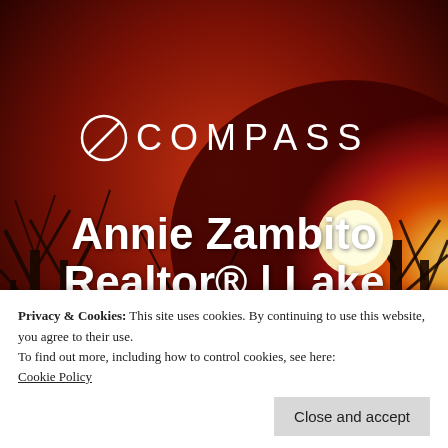[Figure (photo): Sunset background photo with silhouetted bare trees against a vivid orange-red sky with a bright sun on the right side]
[Figure (logo): Compass real estate logo: circle with a diagonal line through it (compass needle symbol) followed by the word COMPASS in white capital letters with wide letter-spacing]
Annie Zambito Realtor® | Lake Geneva, WI
Privacy & Cookies: This site uses cookies. By continuing to use this website, you agree to their use.
To find out more, including how to control cookies, see here:
Cookie Policy
Close and accept